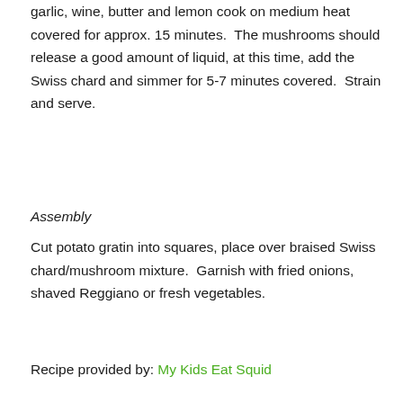garlic, wine, butter and lemon cook on medium heat covered for approx. 15 minutes.  The mushrooms should release a good amount of liquid, at this time, add the Swiss chard and simmer for 5-7 minutes covered.  Strain and serve.
Assembly
Cut potato gratin into squares, place over braised Swiss chard/mushroom mixture.  Garnish with fried onions, shaved Reggiano or fresh vegetables.
Recipe provided by: My Kids Eat Squid